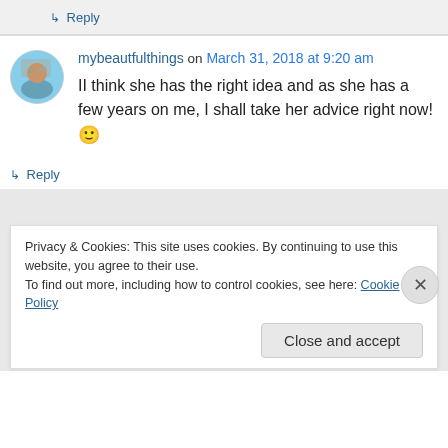↳ Reply
mybeautfulthings on March 31, 2018 at 9:20 am
II think she has the right idea and as she has a few years on me, I shall take her advice right now! 🙂
↳ Reply
Privacy & Cookies: This site uses cookies. By continuing to use this website, you agree to their use.
To find out more, including how to control cookies, see here: Cookie Policy
Close and accept